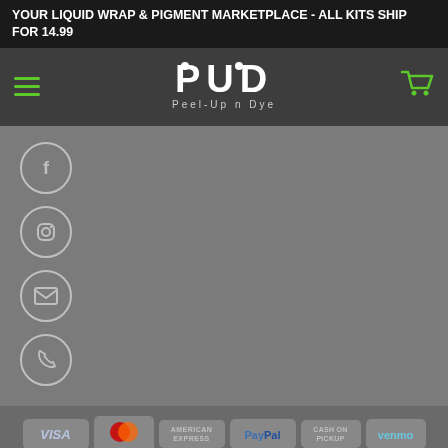YOUR LIQUID WRAP & PIGMENT MARKETPLACE - ALL KITS SHIP FOR 14.99
[Figure (logo): Peel-Up n Dye logo with PUD text and tagline, hamburger menu and cart icon]
[Figure (infographic): Social media icons: Facebook, Instagram, Email, Phone on grey background]
[Figure (infographic): Payment method badges: VISA, MasterCard, American Express, PayPal, Cash on Pickup, Venmo]
Hello! How can I help you today?
Copyright 2022 © LWL